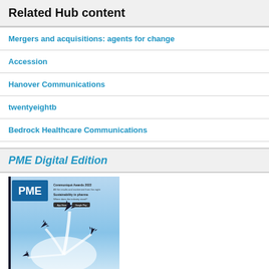Related Hub content
Mergers and acquisitions: agents for change
Accession
Hanover Communications
twentyeightb
Bedrock Healthcare Communications
PME Digital Edition
[Figure (photo): PME magazine cover featuring blue sky background with jet fighters performing aerobatic maneuvers leaving white vapor trails. PME logo in top left, text about Communiqué Awards 2022 and sustainability in pharma.]